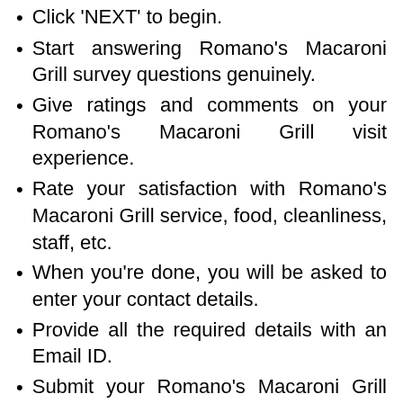Click 'NEXT' to begin.
Start answering Romano's Macaroni Grill survey questions genuinely.
Give ratings and comments on your Romano's Macaroni Grill visit experience.
Rate your satisfaction with Romano's Macaroni Grill service, food, cleanliness, staff, etc.
When you're done, you will be asked to enter your contact details.
Provide all the required details with an Email ID.
Submit your Romano's Macaroni Grill Survey to get a validation code.